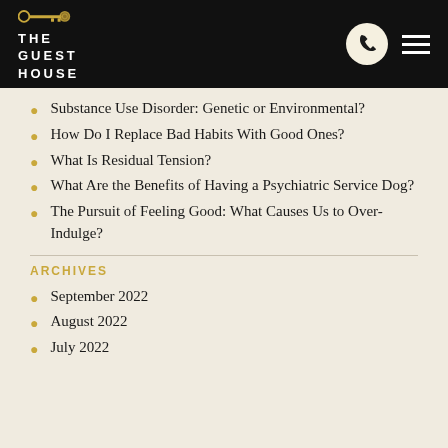THE GUEST HOUSE
Substance Use Disorder: Genetic or Environmental?
How Do I Replace Bad Habits With Good Ones?
What Is Residual Tension?
What Are the Benefits of Having a Psychiatric Service Dog?
The Pursuit of Feeling Good: What Causes Us to Over-Indulge?
ARCHIVES
September 2022
August 2022
July 2022